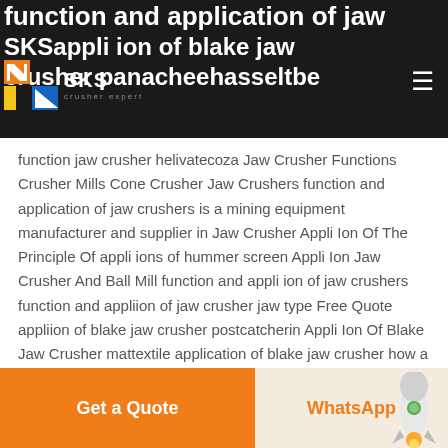function and application of jaw SKS appli ion of blake jaw crusher panacheehasseltbe
[Figure (logo): SKS Crusher Expert logo with orange and blue geometric icon]
function jaw crusher helivatecoza Jaw Crusher Functions Crusher Mills Cone Crusher Jaw Crushers function and application of jaw crushers is a mining equipment manufacturer and supplier in Jaw Crusher Appli Ion Of The Principle Of appli ions of hummer screen Appli Ion Jaw Crusher And Ball Mill function and appli ion of jaw crushers function and appliion of jaw crusher jaw type Free Quote appliion of blake jaw crusher postcatcherin Appli Ion Of Blake Jaw Crusher mattextile application of blake jaw crusher how a jaw crusher works and what it is used for A Jaw Crusher
Get a Quote | WhatsApp